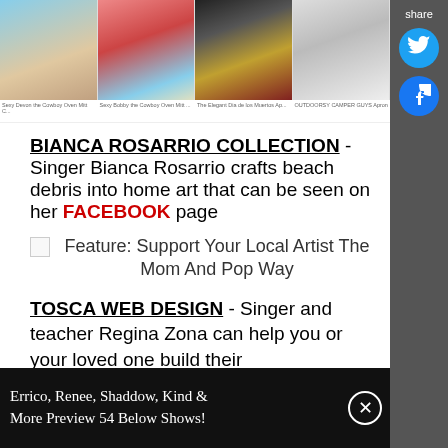[Figure (photo): Strip of four product images showing novelty aprons with captions below each]
BIANCA ROSARRIO COLLECTION - Singer Bianca Rosarrio crafts beach debris into home art that can be seen on her FACEBOOK page
[Figure (photo): Feature: Support Your Local Artist The Mom And Pop Way - broken image with caption text]
TOSCA WEB DESIGN - Singer and teacher Regina Zona can help you or your loved one build their
Errico, Renee, Shaddow, Kind & More Preview 54 Below Shows!